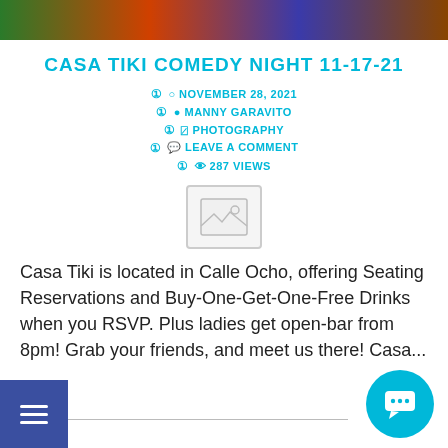[Figure (photo): Colorful banner image with green, orange, and blue tones — event photography]
CASA TIKI COMEDY NIGHT 11-17-21
NOVEMBER 28, 2021
MANNY GARAVITO
PHOTOGRAPHY
LEAVE A COMMENT
287 VIEWS
[Figure (photo): Image placeholder icon (mountain/landscape placeholder)]
Casa Tiki is located in Calle Ocho, offering Seating Reservations and Buy-One-Get-One-Free Drinks when you RSVP. Plus ladies get open-bar from 8pm! Grab your friends, and meet us there! Casa...